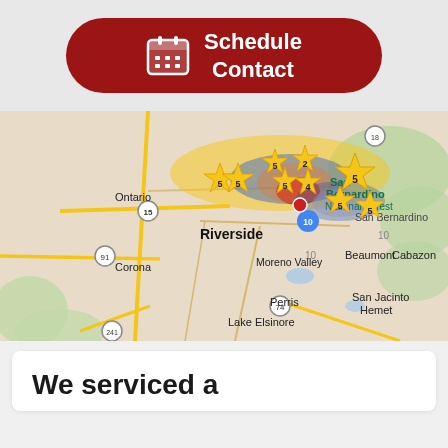[Figure (other): Red rounded button with calendar icon and text 'Schedule Contact']
[Figure (map): Google Maps screenshot showing the Riverside/San Bernardino area in California with heat map overlay and star rating markers clustered around San Bernardino. Cities visible include Ontario, Riverside, Moreno Valley, Beaumont, Cabazon, Corona, Perris, San Jacinto, Hemet, Lake Elsinore. Roads and highways labeled including 15, 60, 91, 74, 241. Star markers show ratings of 5, 5, 5, 5, 2, 4, 5, 5, 5, 10 overlaid on heat map.]
We serviced a